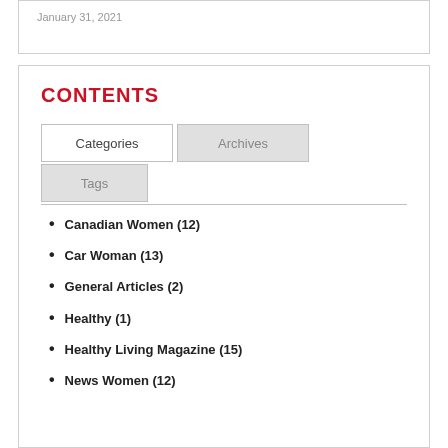January 31, 2021
CONTENTS
Categories | Archives | Tags
Canadian Women (12)
Car Woman (13)
General Articles (2)
Healthy (1)
Healthy Living Magazine (15)
News Women (12)